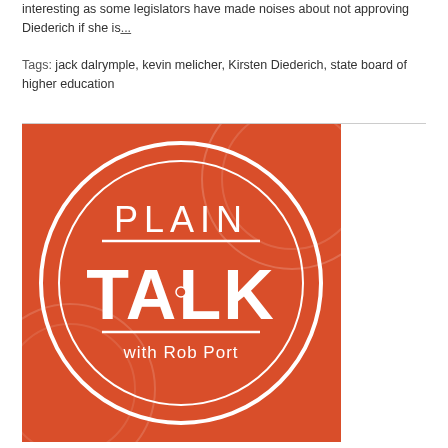interesting as some legislators have made noises about not approving Diederich if she is...
Tags: jack dalrymple, kevin melicher, Kirsten Diederich, state board of higher education
[Figure (logo): Plain Talk with Rob Port podcast logo — red/orange square background with white circular design and text reading PLAIN TALK with Rob Port]